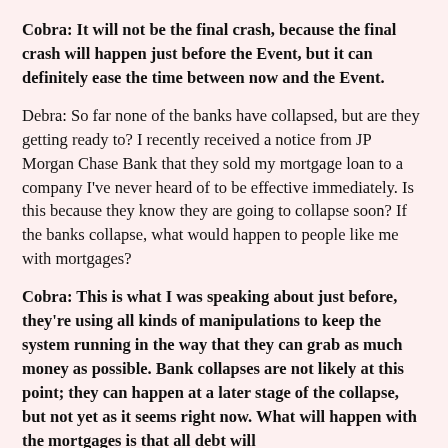Cobra: It will not be the final crash, because the final crash will happen just before the Event, but it can definitely ease the time between now and the Event.
Debra: So far none of the banks have collapsed, but are they getting ready to? I recently received a notice from JP Morgan Chase Bank that they sold my mortgage loan to a company I've never heard of to be effective immediately. Is this because they know they are going to collapse soon? If the banks collapse, what would happen to people like me with mortgages?
Cobra: This is what I was speaking about just before, they're using all kinds of manipulations to keep the system running in the way that they can grab as much money as possible. Bank collapses are not likely at this point; they can happen at a later stage of the collapse, but not yet as it seems right now. What will happen with the mortgages is that all debt will